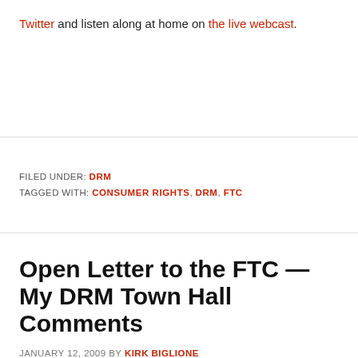Twitter and listen along at home on the live webcast.
FILED UNDER: DRM
TAGGED WITH: CONSUMER RIGHTS, DRM, FTC
Open Letter to the FTC — My DRM Town Hall Comments
JANUARY 12, 2009 BY KIRK BIGLIONE
At long last the Federal Trade Commission is taking a serious look at DRM and the impact the technology is having on consumers. The